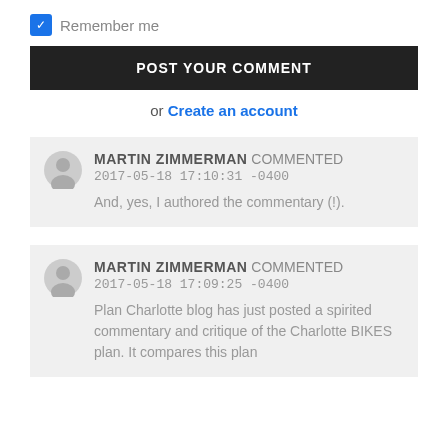Remember me
POST YOUR COMMENT
or Create an account
MARTIN ZIMMERMAN COMMENTED 2017-05-18 17:10:31 -0400
And, yes, I authored the commentary (!).
MARTIN ZIMMERMAN COMMENTED 2017-05-18 17:09:25 -0400
Plan Charlotte blog has just posted a spirited commentary and critique of the Charlotte BIKES plan. It compares this plan